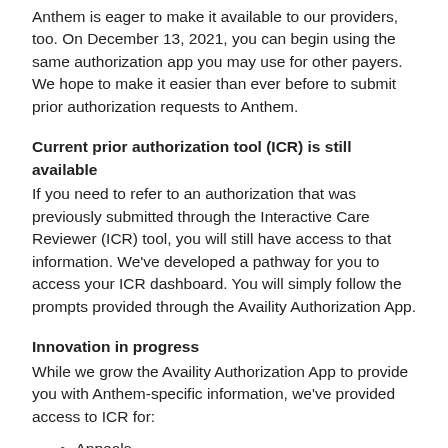Anthem is eager to make it available to our providers, too. On December 13, 2021, you can begin using the same authorization app you may use for other payers. We hope to make it easier than ever before to submit prior authorization requests to Anthem.
Current prior authorization tool (ICR) is still available
If you need to refer to an authorization that was previously submitted through the Interactive Care Reviewer (ICR) tool, you will still have access to that information. We've developed a pathway for you to access your ICR dashboard. You will simply follow the prompts provided through the Availity Authorization App.
Innovation in progress
While we grow the Availity Authorization App to provide you with Anthem-specific information, we've provided access to ICR for:
Appeals
Behavioral health authorizations
FEP authorizations
Clinical administrator...